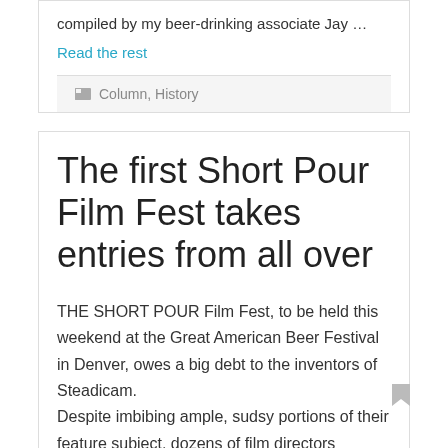compiled by my beer-drinking associate Jay …
Read the rest
Column, History
The first Short Pour Film Fest takes entries from all over
THE SHORT POUR Film Fest, to be held this weekend at the Great American Beer Festival in Denver, owes a big debt to the inventors of Steadicam.
Despite imbibing ample, sudsy portions of their feature subject, dozens of film directors somehow managed to keep their cameras focused long